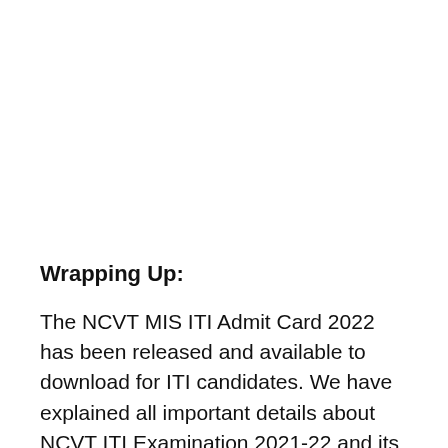Wrapping Up:
The NCVT MIS ITI Admit Card 2022 has been released and available to download for ITI candidates. We have explained all important details about NCVT ITI Examination 2021-22 and its admit card downloading process. If you still have a